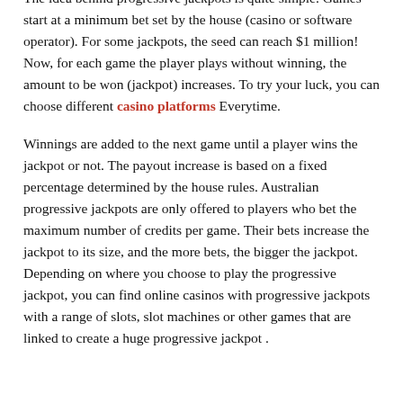details, here's how the Australian progressive jackpots work. The idea behind progressive jackpots is quite simple. Games start at a minimum bet set by the house (casino or software operator). For some jackpots, the seed can reach $1 million! Now, for each game the player plays without winning, the amount to be won (jackpot) increases. To try your luck, you can choose different casino platforms Everytime.
Winnings are added to the next game until a player wins the jackpot or not. The payout increase is based on a fixed percentage determined by the house rules. Australian progressive jackpots are only offered to players who bet the maximum number of credits per game. Their bets increase the jackpot to its size, and the more bets, the bigger the jackpot. Depending on where you choose to play the progressive jackpot, you can find online casinos with progressive jackpots with a range of slots, slot machines or other games that are linked to create a huge progressive jackpot .